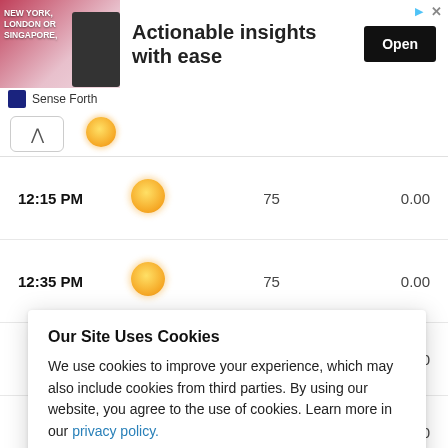[Figure (screenshot): Advertisement banner for Sense Forth showing a person with text 'NEW YORK, LONDON OR SINGAPORE,' with headline 'Actionable insights with ease' and an Open button]
| Time | Condition | Value | Precip |
| --- | --- | --- | --- |
| 12:15 PM | sunny | 75 | 0.00 |
| 12:35 PM | sunny | 75 | 0.00 |
| — | sunny | — | 0.00 |
| — | — | — | 0.00 |
| — | — | — | 0.00 |
| — | — | — | 0.00 |
Our Site Uses Cookies
We use cookies to improve your experience, which may also include cookies from third parties. By using our website, you agree to the use of cookies. Learn more in our privacy policy.
ACCEPT & CLOSE